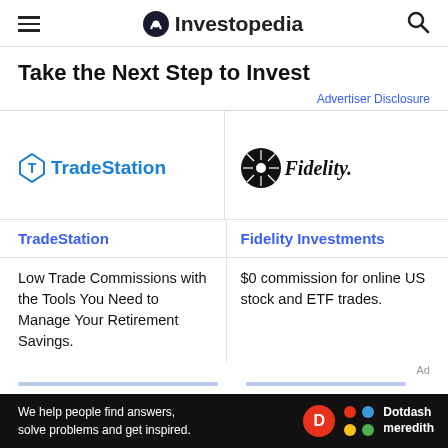Investopedia
Take the Next Step to Invest
Advertiser Disclosure
[Figure (logo): TradeStation logo with blue T icon and blue text]
[Figure (logo): Fidelity Investments logo with starburst and italic bold text]
TradeStation
Fidelity Investments
Low Trade Commissions with the Tools You Need to Manage Your Retirement Savings.
$0 commission for online US stock and ETF trades.
We help people find answers, solve problems and get inspired. Dotdash meredith